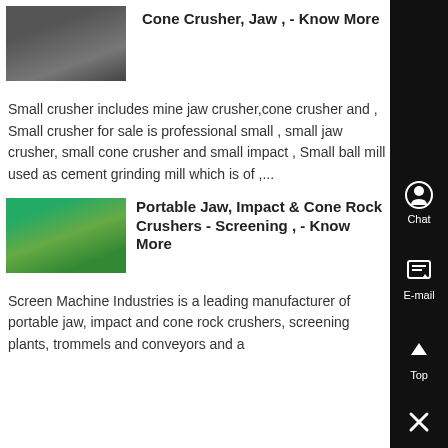[Figure (photo): Small thumbnail image of a crusher machine, top entry]
Cone Crusher, Jaw , - Know More
Small crusher includes mine jaw crusher,cone crusher and , Small crusher for sale is professional small , small jaw crusher, small cone crusher and small impact , Small ball mill used as cement grinding mill which is of ,...
[Figure (photo): Thumbnail image of a portable jaw/screening machine]
Portable Jaw, Impact & Cone Rock Crushers - Screening , - Know More
Screen Machine Industries is a leading manufacturer of portable jaw, impact and cone rock crushers, screening plants, trommels and conveyors and a